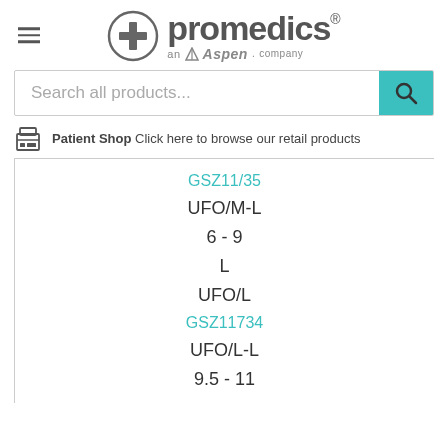[Figure (logo): Promedics logo with cross symbol, 'an Aspen company' tagline]
Search all products...
Patient Shop Click here to browse our retail products
GSZ11/35
UFO/M-L
6 - 9
L
UFO/L
GSZ11734
UFO/L-L
9.5 - 11